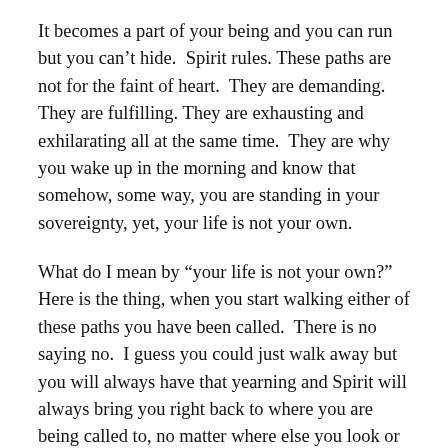It becomes a part of your being and you can run but you can't hide.  Spirit rules. These paths are not for the faint of heart.  They are demanding.  They are fulfilling. They are exhausting and exhilarating all at the same time.  They are why you wake up in the morning and know that somehow, some way, you are standing in your sovereignty, yet, your life is not your own.
What do I mean by “your life is not your own?” Here is the thing, when you start walking either of these paths you have been called.  There is no saying no.  I guess you could just walk away but you will always have that yearning and Spirit will always bring you right back to where you are being called to, no matter where else you look or what else you choose to study.
When you first start out in the Sisterhood you begin